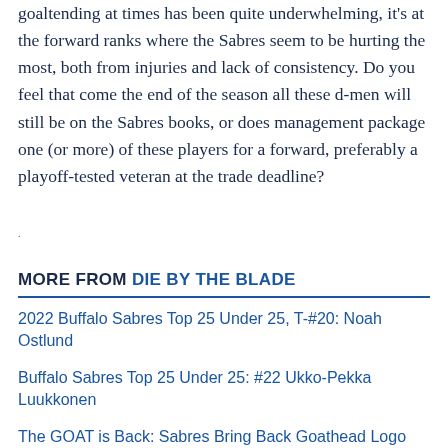goaltending at times has been quite underwhelming, it's at the forward ranks where the Sabres seem to be hurting the most, both from injuries and lack of consistency. Do you feel that come the end of the season all these d-men will still be on the Sabres books, or does management package one (or more) of these players for a forward, preferably a playoff-tested veteran at the trade deadline?
MORE FROM DIE BY THE BLADE
2022 Buffalo Sabres Top 25 Under 25, T-#20: Noah Ostlund
Buffalo Sabres Top 25 Under 25: #22 Ukko-Pekka Luukkonen
The GOAT is Back: Sabres Bring Back Goathead Logo